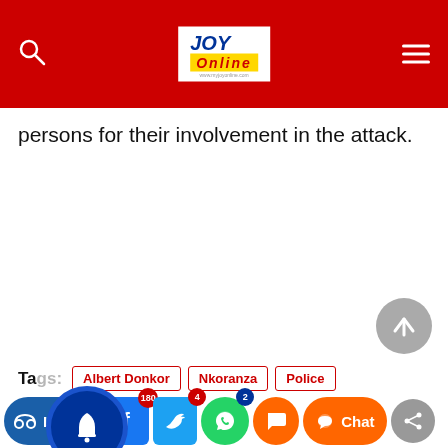[Figure (logo): JOY Online logo in white box on red header background]
persons for their involvement in the attack.
Tags: Albert Donkor, Nkoranza, Police
[Figure (infographic): Bottom action bar with Listen, Facebook share (180), Twitter (4), WhatsApp (2), comment, Chat, and share buttons. Also notification bell overlay and scroll-to-top button.]